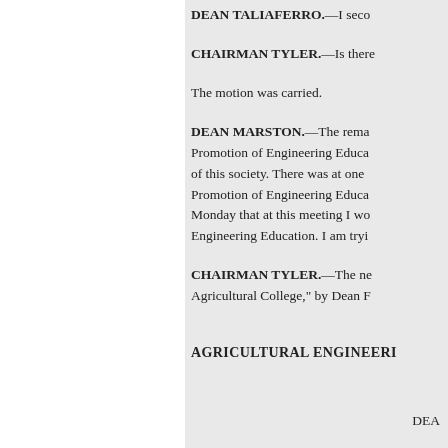DEAN TALIAFERRO.—I seco
CHAIRMAN TYLER.—Is there
The motion was carried.
DEAN MARSTON.—The rema Promotion of Engineering Educa of this society. There was at one Promotion of Engineering Educa Monday that at this meeting I wo Engineering Education. I am tryi
CHAIRMAN TYLER.—The ne Agricultural College," by Dean F
AGRICULTURAL ENGINEERI
DEA
The substitution of mechanical p machinery, and the necessities fo definite demand for men who co conditions.